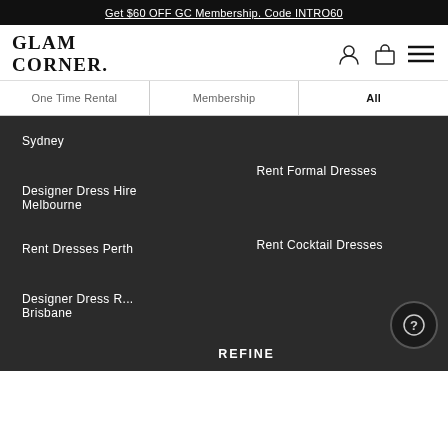Get $60 OFF GC Membership. Code INTRO60
[Figure (logo): GLAM CORNER. logo in serif bold font]
One Time Rental
Membership
All
Sydney
Rent Formal Dresses
Designer Dress Hire Melbourne
Rent Cocktail Dresses
Rent Dresses Perth
Designer Dress ... Brisbane
REFINE